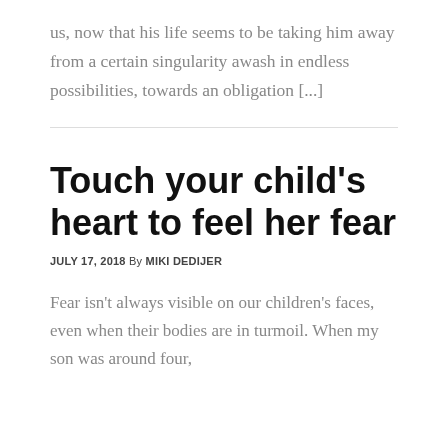us, now that his life seems to be taking him away from a certain singularity awash in endless possibilities, towards an obligation [...]
Touch your child’s heart to feel her fear
JULY 17, 2018 By MIKI DEDIJER
Fear isn’t always visible on our children’s faces, even when their bodies are in turmoil. When my son was around four,